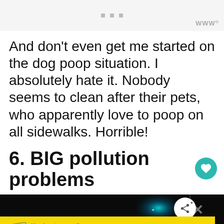[Figure (screenshot): Top bar with three square dots and a wordmark icon on the right]
And don't even get me started on the dog poop situation. I absolutely hate it. Nobody seems to clean after their pets, who apparently love to poop on all sidewalks. Horrible!
6. BIG pollution problems
[Figure (photo): Dark image with teal/blue light glow, cross/X icons on right side and share button overlay]
[Figure (screenshot): Yellow advertisement bar: It's okay to question. Now get the facts on COVID-19 vaccines. GetVaccineAnswers.org]